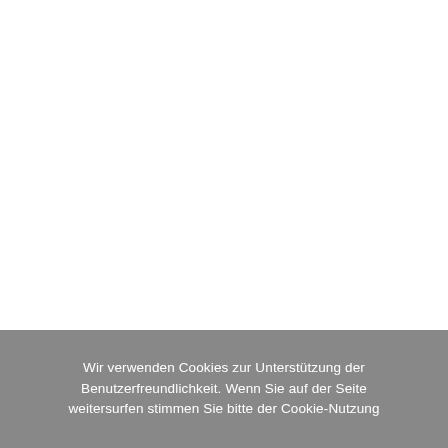Wir verwenden Cookies zur Unterstützung der Benutzerfreundlichkeit. Wenn Sie auf der Seite weitersurfen stimmen Sie bitte der Cookie-Nutzung